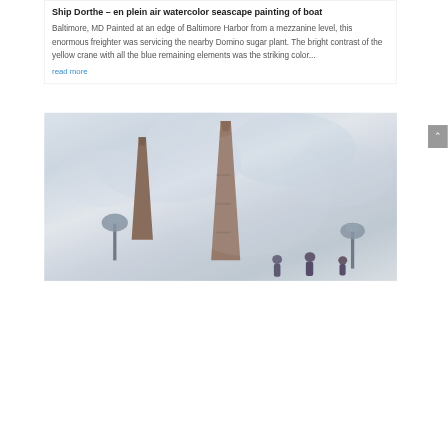Ship Dorthe – en plein air watercolor seascape painting of boat
Baltimore, MD Painted at an edge of Baltimore Harbor from a mezzanine level, this enormous freighter was servicing the nearby Domino sugar plant. The bright contrast of the yellow crane with all the blue remaining elements was the striking color...
read more
[Figure (illustration): Watercolor painting showing tall obelisks/monuments with lamp posts and small human figures in the foreground, painted in soft blue-grey tones typical of en plein air watercolor style]